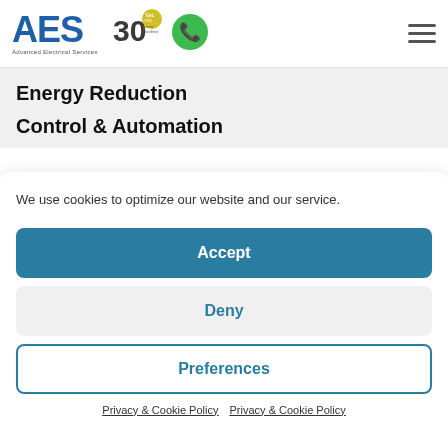[Figure (logo): AES Advanced Electrical Services logo with blue letters and 30 years of excellence badge, green phone icon, and hamburger menu]
Energy Reduction
Control & Automation
We use cookies to optimize our website and our service.
Accept
Deny
Preferences
Privacy & Cookie Policy   Privacy & Cookie Policy